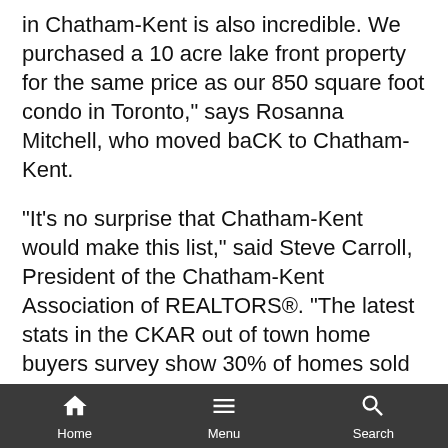in Chatham-Kent is also incredible. We purchased a 10 acre lake front property for the same price as our 850 square foot condo in Toronto," says Rosanna Mitchell, who moved baCK to Chatham-Kent.
"It's no surprise that Chatham-Kent would make this list," said Steve Carroll, President of the Chatham-Kent Association of REALTORS®. "The latest stats in the CKAR out of town home buyers survey show 30% of homes sold in CK are to people from outside the area...we are still one of the most affordable places to live, and the word has gotten out".
Home  Menu  Search